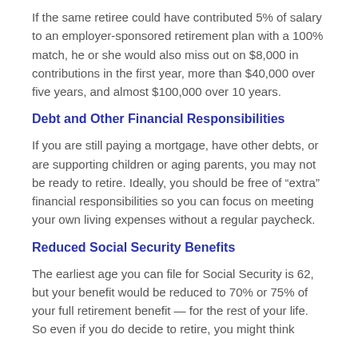If the same retiree could have contributed 5% of salary to an employer-sponsored retirement plan with a 100% match, he or she would also miss out on $8,000 in contributions in the first year, more than $40,000 over five years, and almost $100,000 over 10 years.
Debt and Other Financial Responsibilities
If you are still paying a mortgage, have other debts, or are supporting children or aging parents, you may not be ready to retire. Ideally, you should be free of “extra” financial responsibilities so you can focus on meeting your own living expenses without a regular paycheck.
Reduced Social Security Benefits
The earliest age you can file for Social Security is 62, but your benefit would be reduced to 70% or 75% of your full retirement benefit — for the rest of your life. So even if you do decide to retire, you might think